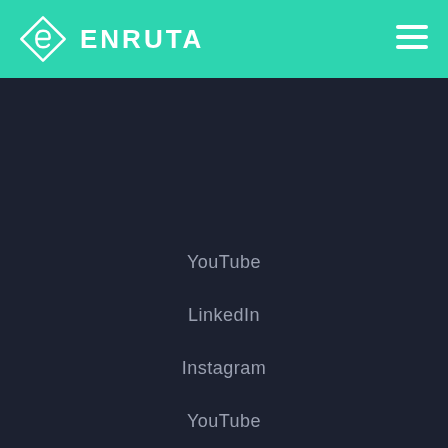ENRUTA
YouTube
LinkedIn
Instagram
YouTube